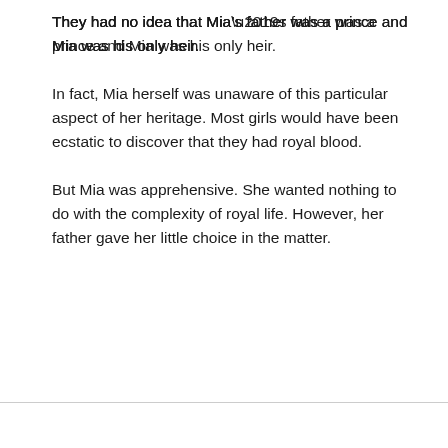They had no idea that Mia’s father was a prince and Mia was his only heir.
In fact, Mia herself was unaware of this particular aspect of her heritage. Most girls would have been ecstatic to discover that they had royal blood.
But Mia was apprehensive. She wanted nothing to do with the complexity of royal life. However, her father gave her little choice in the matter.